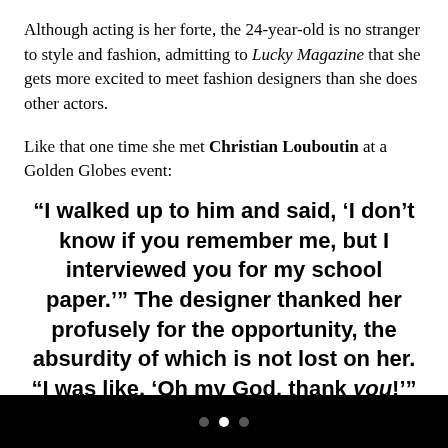Although acting is her forte, the 24-year-old is no stranger to style and fashion, admitting to Lucky Magazine that she gets more excited to meet fashion designers than she does other actors.
Like that one time she met Christian Louboutin at a Golden Globes event:
“I walked up to him and said, ‘I don’t know if you remember me, but I interviewed you for my school paper.’” The designer thanked her profusely for the opportunity, the absurdity of which is not lost on her. “I was like, ‘Oh my God, thank you!’”
• • •